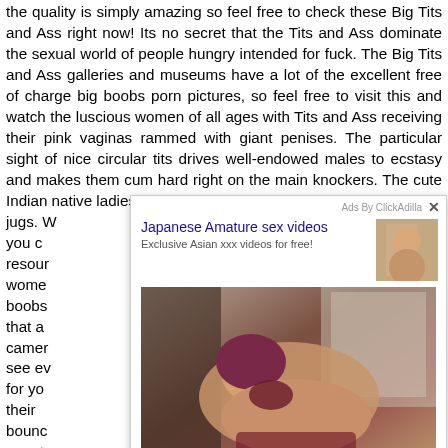the quality is simply amazing so feel free to check these Big Tits and Ass right now! Its no secret that the Tits and Ass dominate the sexual world of people hungry intended for fuck. The Big Tits and Ass galleries and museums have a lot of the excellent free of charge big boobs porn pictures, so feel free to visit this and watch the luscious women of all ages with Tits and Ass receiving their pink vaginas rammed with giant penises. The particular sight of nice circular tits drives well-endowed males to ecstasy and makes them cum hard right on the main knockers. The cute Indian native ladies ... nderful jugs. W... since you c... o this resour... young wome... naked boobs... titties, that a... of the camer... ou will see ev... waiting for yo... owing their ... those bounc... sty for your to...
[Figure (screenshot): Ad overlay from ClickAdilla showing 'Japanese Amature sex videos' with subtitle 'Exclusive Asian xxx videos for free!' and a main image with watermark liveasiantube.com, plus a close button X. Ad id: 2j5.]